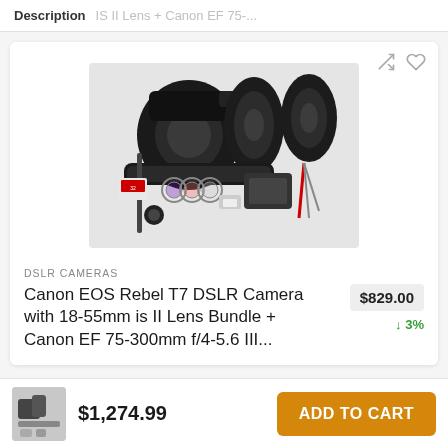Description  IS II Lens + Canon EF 75-...
[Figure (photo): Canon EOS Rebel T7 DSLR Camera bundle with multiple lenses, accessories including filters, SD card, bag, tripod, and flash]
DSLR CAMERAS
Canon EOS Rebel T7 DSLR Camera with 18-55mm is II Lens Bundle + Canon EF 75-300mm f/4-5.6 III...
$829.00
↓ 3%
[Figure (photo): Small thumbnail of the Canon EOS Rebel T7 camera bundle]
$1,274.99
ADD TO CART